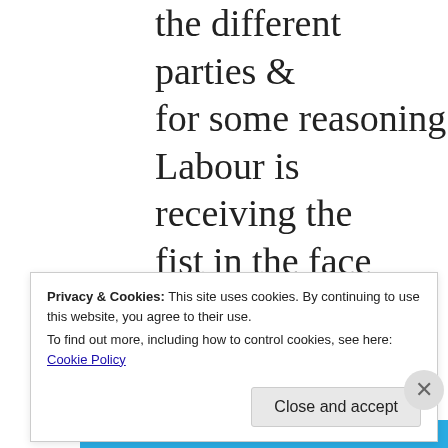the different parties & for some reasoning Labour is receiving the fist in the face don't have the answers but do believe some of the above did not help in trying to sell Labour
Privacy & Cookies: This site uses cookies. By continuing to use this website, you agree to their use.
To find out more, including how to control cookies, see here: Cookie Policy